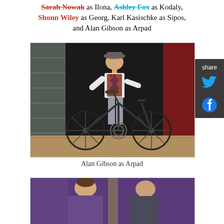Sarah Nowak as Ilona, Ashley Fox as Kodaly, Shonn Wiley as Georg, Karl Kasischke as Sipos, and Alan Gibson as Arpad
[Figure (photo): A performer dressed in period costume (argyle vest, bow tie, newsboy cap) standing on stage beside a vintage bicycle, arms raised in a theatrical pose. Stage has brick wall backdrop and wooden floor.]
Alan Gibson as Arpad
[Figure (photo): Two performers in period costume on stage, partially visible at bottom of frame.]